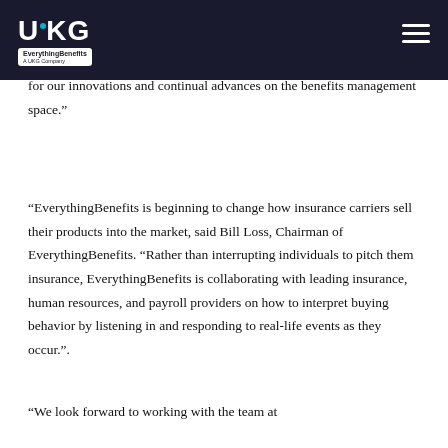UKG | EverythingBenefits – A UKG Company
Arthur Ventures to support our continued growth, said Ron Brovitzky, CEO of EverythingBenefits. "Our Series A Funding sends a signal to the marketplace that EverythingBenefits and our solutions are highly valued for our innovations and continual advances on the benefits management space."
"EverythingBenefits is beginning to change how insurance carriers sell their products into the market, said Bill Loss, Chairman of EverythingBenefits. "Rather than interrupting individuals to pitch them insurance, EverythingBenefits is collaborating with leading insurance, human resources, and payroll providers on how to interpret buying behavior by listening in and responding to real-life events as they occur.".
"We look forward to working with the team at